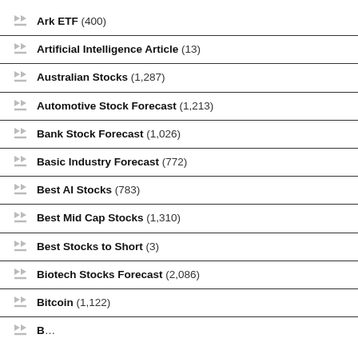Ark ETF (400)
Artificial Intelligence Article (13)
Australian Stocks (1,287)
Automotive Stock Forecast (1,213)
Bank Stock Forecast (1,026)
Basic Industry Forecast (772)
Best AI Stocks (783)
Best Mid Cap Stocks (1,310)
Best Stocks to Short (3)
Biotech Stocks Forecast (2,086)
Bitcoin (1,122)
Bonus (3,455)